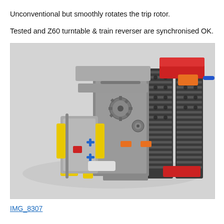Unconventional but smoothly rotates the trip rotor.

Tested and Z60 turntable & train reverser are synchronised OK.
[Figure (photo): Photo of a LEGO Technic mechanical assembly featuring gears, yellow connectors, red and orange pieces, dark gray rack gears, and various gray structural elements arranged as a complex gear/reverser mechanism, photographed from above on a white/light gray surface.]
IMG_8307